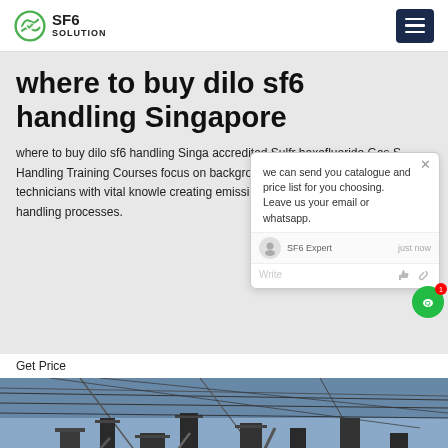SF6 SOLUTION
where to buy dilo sf6 handling Singapore
where to buy dilo sf6 handling Singapore accredited Sulfr hexafluoride Gas S Handling Training Courses focus on background with practical field provide technicians with vital knowle creating emission free Sulfr hexafluoride gas handling processes.
we can send you catalogue and price list for you choosing. Leave us your email or whatsapp.
SF6 Expert   just now
Write
Get Price
[Figure (photo): Industrial electrical substation equipment with power lines and cables, photographed from below against an overcast sky.]